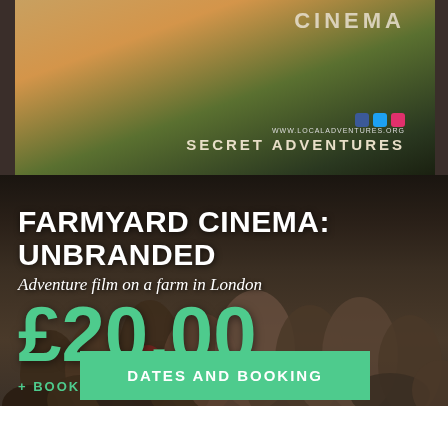[Figure (photo): Outdoor cinema event at night showing audience from behind watching a large screen displaying horses and the 'Secret Adventures' branding with social media icons and URL www.localadventures.org]
FARMYARD CINEMA: UNBRANDED
Adventure film on a farm in London
£20.00
+ BOOKING FEE
DATES AND BOOKING